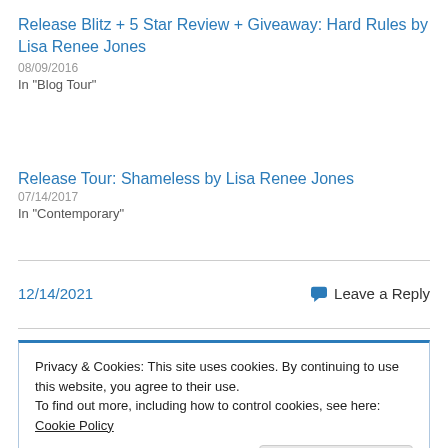Release Blitz + 5 Star Review + Giveaway: Hard Rules by Lisa Renee Jones
08/09/2016
In "Blog Tour"
Release Tour: Shameless by Lisa Renee Jones
07/14/2017
In "Contemporary"
12/14/2021
Leave a Reply
Privacy & Cookies: This site uses cookies. By continuing to use this website, you agree to their use.
To find out more, including how to control cookies, see here: Cookie Policy
Close and accept